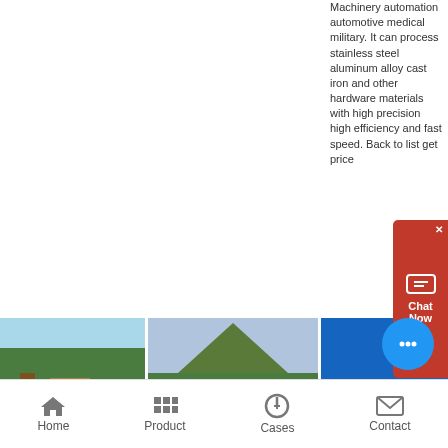Machinery automation automotive medical military. It can process stainless steel aluminum alloy cast iron and other hardware materials with high precision high efficiency and fast speed. Back to list get price
[Figure (photo): Industrial machinery equipment with trees and mountain in background]
[Figure (photo): Large machinery component with mountain and trees in background]
[Figure (photo): Industrial equipment against blue sky]
Home  Product  Cases  Contact